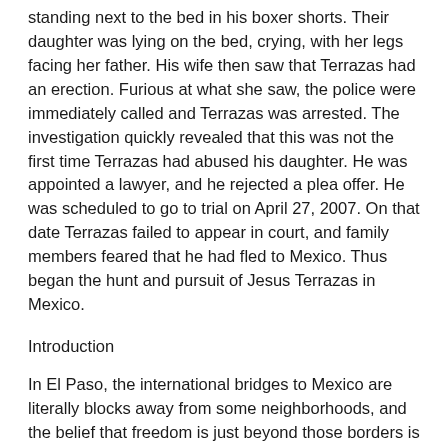standing next to the bed in his boxer shorts. Their daughter was lying on the bed, crying, with her legs facing her father. His wife then saw that Terrazas had an erection. Furious at what she saw, the police were immediately called and Terrazas was arrested. The investigation quickly revealed that this was not the first time Terrazas had abused his daughter. He was appointed a lawyer, and he rejected a plea offer. He was scheduled to go to trial on April 27, 2007. On that date Terrazas failed to appear in court, and family members feared that he had fled to Mexico. Thus began the hunt and pursuit of Jesus Terrazas in Mexico.
Introduction
In El Paso, the international bridges to Mexico are literally blocks away from some neighborhoods, and the belief that freedom is just beyond those borders is too great a temptation for many criminals. Recently the suspect in a triple homicide, who had fled from El Paso to Mexico after the killings, walked across the bridge from Ciudad Juarez, Mexico, and turned himself in to startled U.S. Custom officers less than a week after